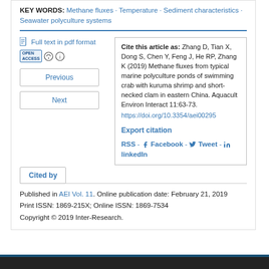KEY WORDS: Methane fluxes · Temperature · Sediment characteristics · Seawater polyculture systems
Full text in pdf format
Previous
Next
Cite this article as: Zhang D, Tian X, Dong S, Chen Y, Feng J, He RP, Zhang K (2019) Methane fluxes from typical marine polyculture ponds of swimming crab with kuruma shrimp and short-necked clam in eastern China. Aquacult Environ Interact 11:63-73. https://doi.org/10.3354/aei00295
Export citation
RSS - Facebook - Tweet - linkedIn
Cited by
Published in AEI Vol. 11. Online publication date: February 21, 2019
Print ISSN: 1869-215X; Online ISSN: 1869-7534
Copyright © 2019 Inter-Research.